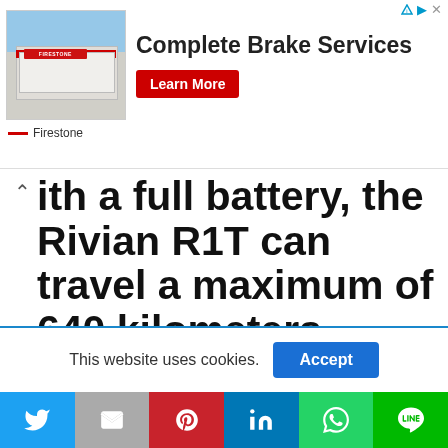[Figure (screenshot): Advertisement banner for Firestone Complete Brake Services with a photo of a Firestone auto care center building, text 'Complete Brake Services' and a red 'Learn More' button. Ad indicator icons top right.]
...ith a full battery, the Rivian R1T can travel a maximum of 640 kilometers
Rivian now claims to have nearly 55,000 reservations for the R1S and R1T. In addition, 100,000 electric delivery vans have been ordered by investment partner Amazon. The Rivian R1T
This website uses cookies.
[Figure (screenshot): Social share bar with Twitter, Email, Pinterest, LinkedIn, WhatsApp, and LINE buttons]